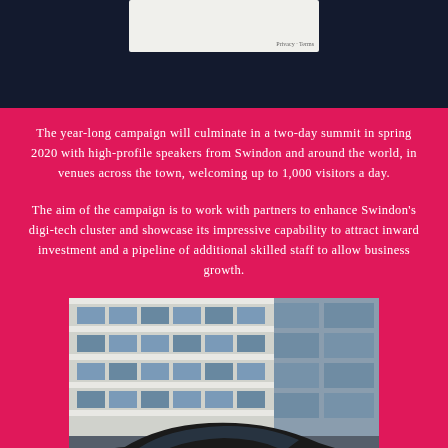[Figure (screenshot): Top section showing a dark navy background with a partial map/card element visible, containing 'Privacy · Terms' text]
The year-long campaign will culminate in a two-day summit in spring 2020 with high-profile speakers from Swindon and around the world, in venues across the town, welcoming up to 1,000 visitors a day.
The aim of the campaign is to work with partners to enhance Swindon's digi-tech cluster and showcase its impressive capability to attract inward investment and a pipeline of additional skilled staff to allow business growth.
[Figure (photo): Photograph showing a modern multi-storey building facade with horizontal white/grey bands and rectangular windows, with a dark car roof visible in the foreground]